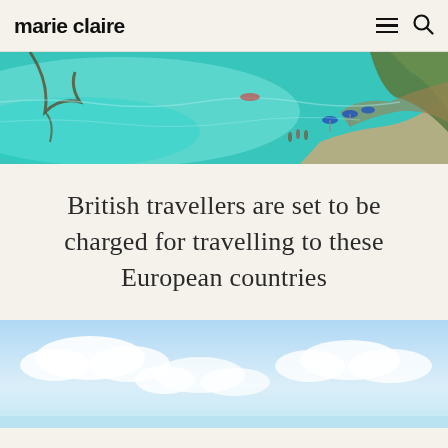marie claire
[Figure (photo): Aerial view of a turquoise Mediterranean beach with people, blue umbrellas, rocky coastline and trees in the water]
British travellers are set to be charged for travelling to these European countries
[Figure (photo): Blue sky with white clouds over a calm sea, tropical beach scene]